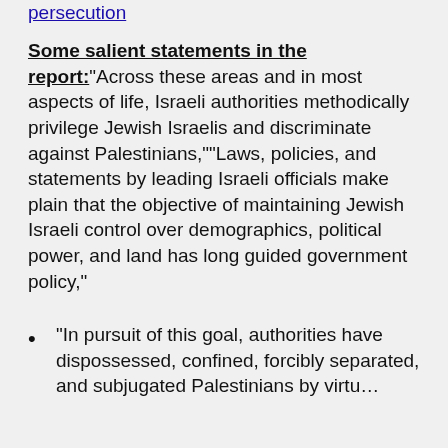persecution
Some salient statements in the report:“Across these areas and in most aspects of life, Israeli authorities methodically privilege Jewish Israelis and discriminate against Palestinians,”“Laws, policies, and statements by leading Israeli officials make plain that the objective of maintaining Jewish Israeli control over demographics, political power, and land has long guided government policy,”
“In pursuit of this goal, authorities have dispossessed, confined, forcibly separated, and subjugated Palestinians by virtu…